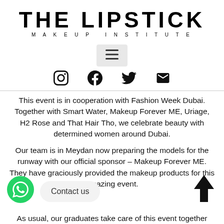THE LIPSTICK MAKEUP INSTITUTE
[Figure (infographic): Hamburger menu button icon (three horizontal lines) on a light grey rounded rectangle background]
[Figure (infographic): Row of four social media icons: Instagram, Facebook, Twitter/X, Email/envelope]
This event is in cooperation with Fashion Week Dubai. Together with Smart Water, Makeup Forever ME, Uriage, H2 Rose and That Hair Tho, we celebrate beauty with determined women around Dubai.
Our team is in Meydan now preparing the models for the runway with our official sponsor – Makeup Forever ME. They have graciously provided the makeup products for this amazing event.
As usual, our graduates take care of this event together